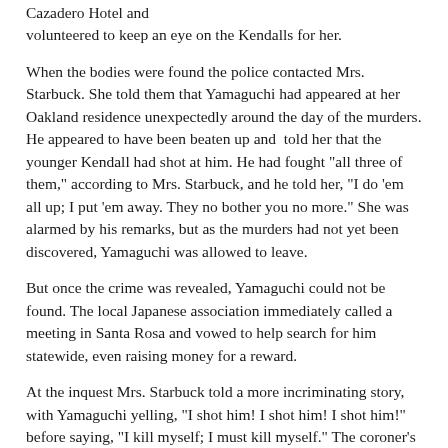Cazadero Hotel and volunteered to keep an eye on the Kendalls for her.
When the bodies were found the police contacted Mrs. Starbuck. She told them that Yamaguchi had appeared at her Oakland residence unexpectedly around the day of the murders. He appeared to have been beaten up and told her that the younger Kendall had shot at him. He had fought "all three of them," according to Mrs. Starbuck, and he told her, "I do 'em all up; I put 'em away. They no bother you no more." She was alarmed by his remarks, but as the murders had not yet been discovered, Yamaguchi was allowed to leave.
But once the crime was revealed, Yamaguchi could not be found. The local Japanese association immediately called a meeting in Santa Rosa and vowed to help search for him statewide, even raising money for a reward.
At the inquest Mrs. Starbuck told a more incriminating story, with Yamaguchi yelling, "I shot him! I shot him! I shot him!" before saying, "I kill myself; I must kill myself." The coroner's inquest heard Yamaguchi with a revolver...